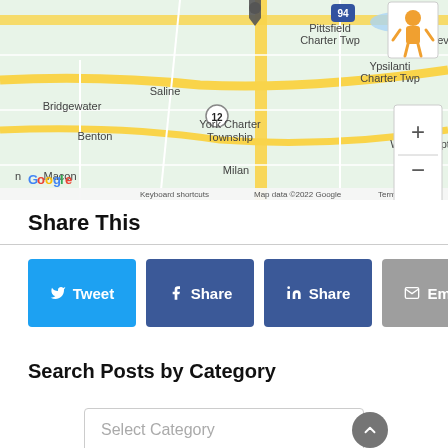[Figure (map): Google Map showing area around Ypsilanti, Michigan including Pittsfield Charter Twp, York Charter Township, Saline, Bridgewater, Benton, Milan, West Sumpt, Willis, Bellevi, and route markers including I-94 and route 12. Map data ©2022 Google. Includes zoom controls (+/-) and a street view person icon.]
Share This
Tweet
Share
Share
Email
Search Posts by Category
Select Category